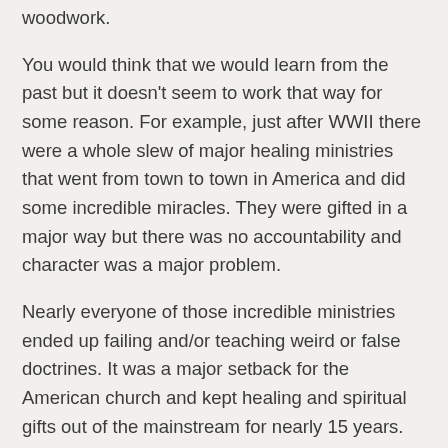woodwork.
You would think that we would learn from the past but it doesn't seem to work that way for some reason. For example, just after WWII there were a whole slew of major healing ministries that went from town to town in America and did some incredible miracles. They were gifted in a major way but there was no accountability and character was a major problem.
Nearly everyone of those incredible ministries ended up failing and/or teaching weird or false doctrines. It was a major setback for the American church and kept healing and spiritual gifts out of the mainstream for nearly 15 years.
In the same time frame God rose up Billy Graham, a man of extraordinary character. There were a dozen or so ministers from the same time period that were far more